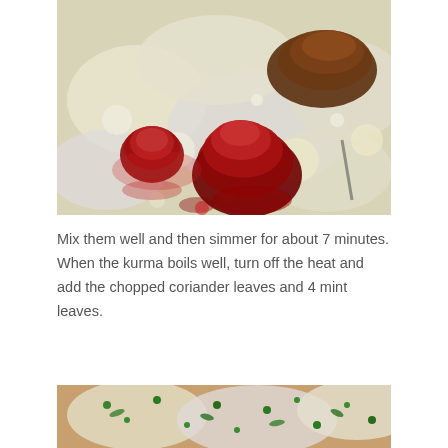[Figure (photo): Close-up photo of spices (red chili powder and brown spice powder) added to a boiling white curry or kurma dish in a pan]
Mix them well and then simmer for about 7 minutes. When the kurma boils well, turn off the heat and add the chopped coriander leaves and 4 mint leaves.
[Figure (photo): Partial photo showing the finished kurma dish with garnished coriander and mint leaves]